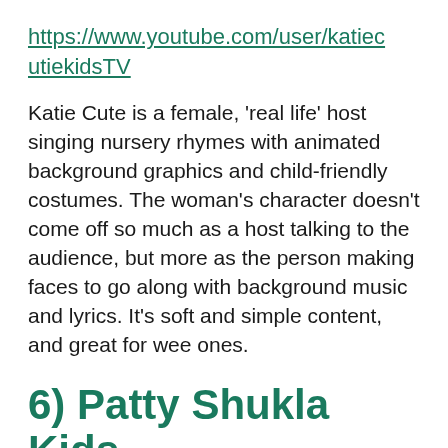https://www.youtube.com/user/katiecutiekidsTV
Katie Cute is a female, 'real life' host singing nursery rhymes with animated background graphics and child-friendly costumes. The woman's character doesn't come off so much as a host talking to the audience, but more as the person making faces to go along with background music and lyrics. It's soft and simple content, and great for wee ones.
6) Patty Shukla Kids TV – Children's